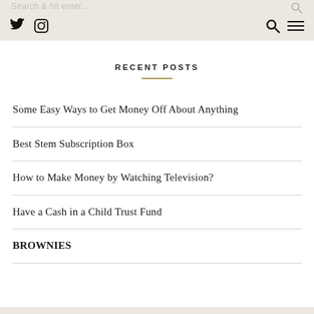Search & hit enter... [Twitter icon] [Instagram icon] [Search icon] [Menu icon]
RECENT POSTS
Some Easy Ways to Get Money Off About Anything
Best Stem Subscription Box
How to Make Money by Watching Television?
Have a Cash in a Child Trust Fund
BROWNIES